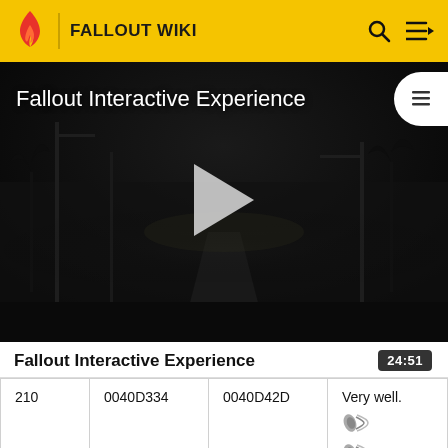FALLOUT WIKI
[Figure (screenshot): Dark post-apocalyptic video thumbnail showing 'Fallout Interactive Experience' with a play button in the center. Scene shows a desolate road at night with bare trees and utility poles.]
Fallout Interactive Experience
24:51
| 210 | 0040D334 | 0040D42D | Very well.
[sound icon]
[sound icon]
Play sound |